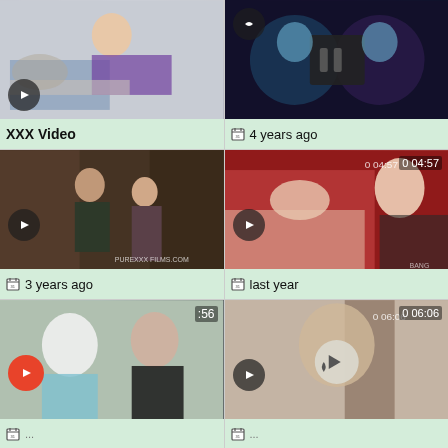[Figure (photo): Video thumbnail: woman in patterned robe giving massage to older man lying face down]
XXX Video
[Figure (photo): Video thumbnail: VR 360 scene with colorful lighting, two figures]
4 years ago
[Figure (photo): Video thumbnail: couple in apartment, man in dark jacket with woman, PUREXXX FILMS.COM watermark]
3 years ago
[Figure (photo): Video thumbnail: man lying on red bed, blonde woman, 04:57 timer, BANG watermark]
last year
[Figure (photo): Video thumbnail: blonde and dark-haired woman together, partial timer :56]
[Figure (photo): Video thumbnail: woman in hotel room setting, timer 06:06]